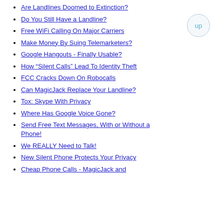Are Landlines Doomed to Extinction?
Do You Still Have a Landline?
Free WiFi Calling On Major Carriers
Make Money By Suing Telemarketers?
Google Hangouts - Finally Usable?
How “Silent Calls” Lead To Identity Theft
FCC Cracks Down On Robocalls
Can MagicJack Replace Your Landline?
Tox: Skype With Privacy
Where Has Google Voice Gone?
Send Free Text Messages, With or Without a Phone!
We REALLY Need to Talk!
New Silent Phone Protects Your Privacy
Cheap Phone Calls - MagicJack and